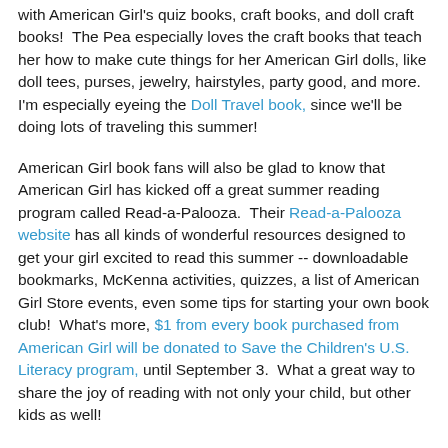with American Girl's quiz books, craft books, and doll craft books!  The Pea especially loves the craft books that teach her how to make cute things for her American Girl dolls, like doll tees, purses, jewelry, hairstyles, party good, and more.  I'm especially eyeing the Doll Travel book, since we'll be doing lots of traveling this summer!
American Girl book fans will also be glad to know that American Girl has kicked off a great summer reading program called Read-a-Palooza.  Their Read-a-Palooza website has all kinds of wonderful resources designed to get your girl excited to read this summer -- downloadable bookmarks, McKenna activities, quizzes, a list of American Girl Store events, even some tips for starting your own book club!  What's more, $1 from every book purchased from American Girl will be donated to Save the Children's U.S. Literacy program, until September 3.  What a great way to share the joy of reading with not only your child, but other kids as well!